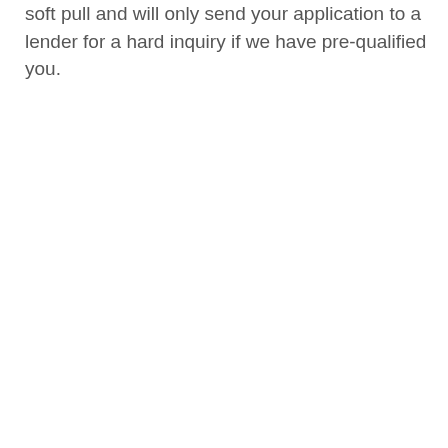soft pull and will only send your application to a lender for a hard inquiry if we have pre-qualified you.